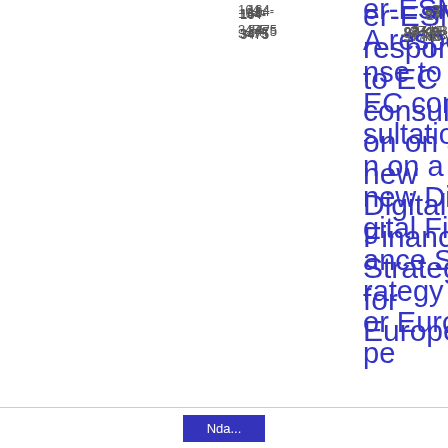164-3475
er-ESMA response to EC consultation on a new Digital Finance Strategy for Europe
87
.97 KB